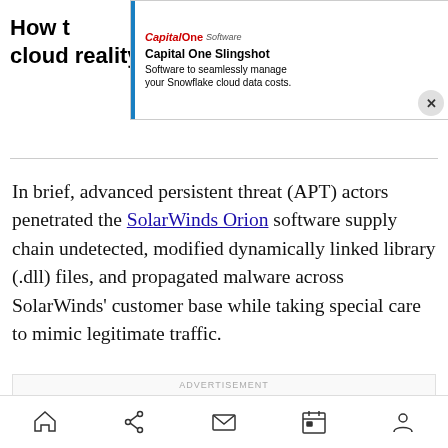How t… multi-cloud reality_
[Figure (screenshot): Capital One Software advertisement banner: 'Capital One Slingshot — Software to seamlessly manage your Snowflake cloud data costs.' with close button.]
In brief, advanced persistent threat (APT) actors penetrated the SolarWinds Orion software supply chain undetected, modified dynamically linked library (.dll) files, and propagated malware across SolarWinds' customer base while taking special care to mimic legitimate traffic.
ADVERTISEMENT
[Figure (screenshot): Advertisement banner with dark background and colorful cybersecurity imagery.]
Home | Share | Mail | Calendar | Profile navigation icons